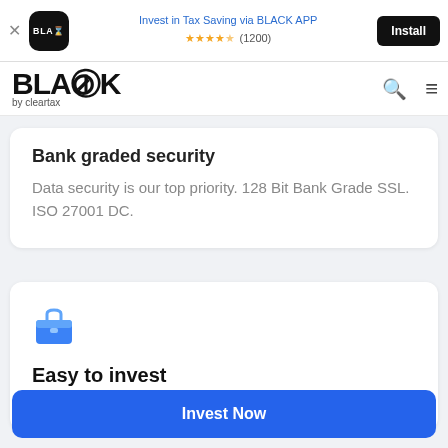[Figure (screenshot): App install banner with BLACK app icon, 'Invest in Tax Saving via BLACK APP', star rating 4.5 (1200 reviews), and Install button]
[Figure (logo): BLACK by cleartax logo with search and menu icons in navigation bar]
Bank graded security
Data security is our top priority. 128 Bit Bank Grade SSL. ISO 27001 DC.
[Figure (illustration): Blue briefcase icon]
Easy to invest
Sign up and start investing online within minutes.
Invest Now